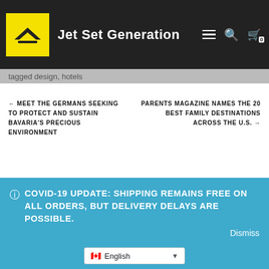Jet Set Generation
Tagged design, hotels
← MEET THE GERMANS SEEKING TO PROTECT AND SUSTAIN BAVARIA'S PRECIOUS ENVIRONMENT
PARENTS MAGAZINE NAMES THE 20 BEST FAMILY DESTINATIONS ACROSS THE U.S. →
Search …
ⓘ COVID-19 UPDATE: SHIPPING REMAINS FREE ON ALL ORDERS, BUT DELIVERY DELAYS ARE POSSIBLE.
Dismiss
English